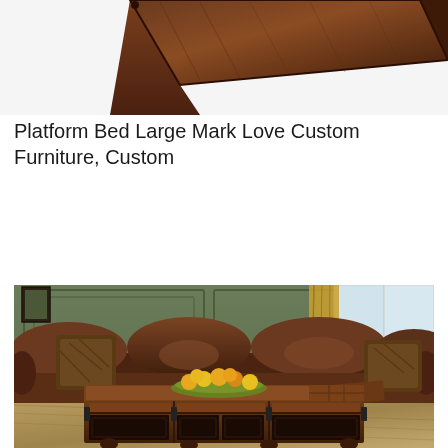[Figure (photo): Partial view of a wooden furniture piece (platform bed or box), dark wood, shot at an angle, cropped at top of page]
Platform Bed Large Mark Love Custom Furniture, Custom
[Figure (photo): Living room scene featuring a large brown leather sofa with decorative pillows, and a large ornate dark wood coffee table/trunk with carved metal panel accents and bun feet, with a bowl of oranges on top, set against olive green walls with plantation shutters and gold curtains]